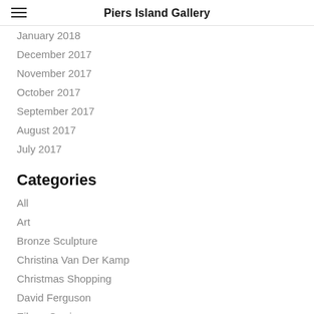Piers Island Gallery
January 2018
December 2017
November 2017
October 2017
September 2017
August 2017
July 2017
Categories
All
Art
Bronze Sculpture
Christina Van Der Kamp
Christmas Shopping
David Ferguson
Eileen Currie
Evey Gabille
Fused Glass